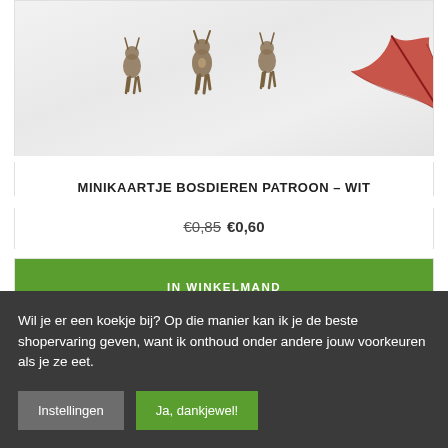[Figure (photo): Product image showing minikaartje bosdieren patroon wit with deer/fawn illustrations on a marble-like white background with a red autumn maple leaf in the corner]
MINIKAARTJE BOSDIEREN PATROON – WIT
€0,85 €0,60
IN WINKELMAND
Wil je er een koekje bij? Op die manier kan ik je de beste shopervaring geven, want ik onthoud onder andere jouw voorkeuren als je ze eet.
Instellingen
Ja, dankjewel!